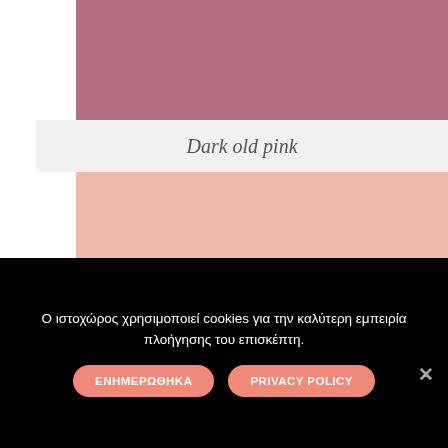[Figure (illustration): Dark old pink color swatch block at the top]
Dark old pink
[Figure (illustration): Light old pink / salmon color swatch block]
Ο ιστοχώρος χρησιμοποιεί cookies για την καλύτερη εμπειρία πλοήγησης του επισκέπτη.
ΕΝΗΜΕΡΩΘΗΚΑ
PRIVACY POLICY